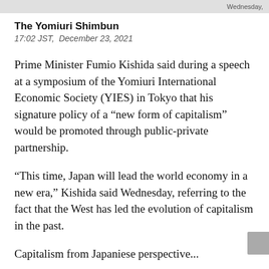Wednesday,
The Yomiuri Shimbun
17:02 JST,  December 23, 2021
Prime Minister Fumio Kishida said during a speech at a symposium of the Yomiuri International Economic Society (YIES) in Tokyo that his signature policy of a “new form of capitalism” would be promoted through public-private partnership.
“This time, Japan will lead the world economy in a new era,” Kishida said Wednesday, referring to the fact that the West has led the evolution of capitalism in the past.
Capitalism from Japanese perspective...